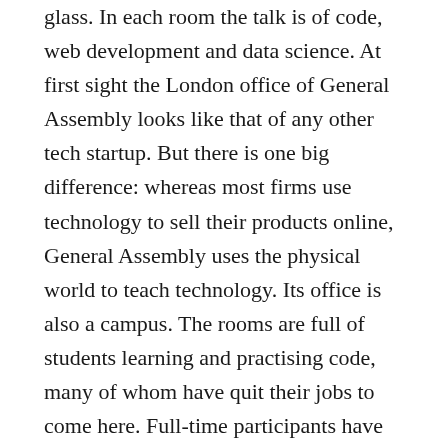glass. In each room the talk is of code, web development and data science. At first sight the London office of General Assembly looks like that of any other tech startup. But there is one big difference: whereas most firms use technology to sell their products online, General Assembly uses the physical world to teach technology. Its office is also a campus. The rooms are full of students learning and practising code, many of whom have quit their jobs to come here. Full-time participants have paid between £8,000 and £10,000 ($9,900-12,400) to learn the lingua franca of the digital economy in a programme lasting 10-12 weeks.
General Assembly, with campuses in 20 cities from Seattle to Sydney, has an alumni body of around 35,000 graduates. Most of those who enroll for full-time courses expect them to lead to new careers. The company's curriculum is based on conversations with employers about the skills they recognise they lack, full-